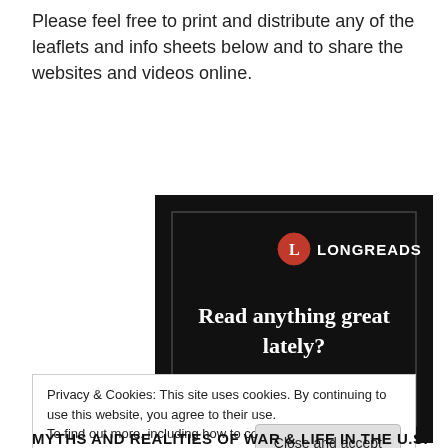Please feel free to print and distribute any of the leaflets and info sheets below and to share the websites and videos online.
[Figure (screenshot): A Longreads advertisement banner with dark/black background. Shows 'L LONGREADS' logo at top, large white serif text reading 'Read anything great lately?' and a red button saying 'Start reading'.]
Privacy & Cookies: This site uses cookies. By continuing to use this website, you agree to their use.
To find out more, including how to control cookies, see here: Cookie Policy
Close and accept
MYTHS AND REALITIES OF WAR & LIFE IN THE U.S.